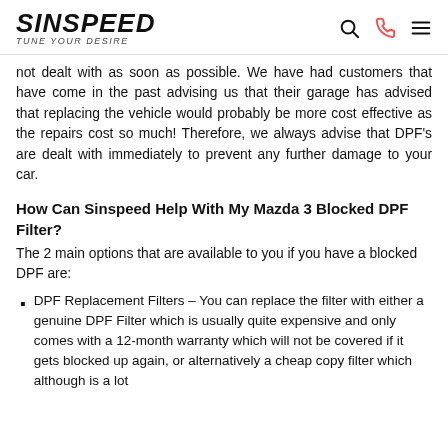SINSPEED – Tune Your Desire
not dealt with as soon as possible. We have had customers that have come in the past advising us that their garage has advised that replacing the vehicle would probably be more cost effective as the repairs cost so much! Therefore, we always advise that DPF's are dealt with immediately to prevent any further damage to your car.
How Can Sinspeed Help With My Mazda 3 Blocked DPF Filter?
The 2 main options that are available to you if you have a blocked DPF are:
DPF Replacement Filters – You can replace the filter with either a genuine DPF Filter which is usually quite expensive and only comes with a 12-month warranty which will not be covered if it gets blocked up again, or alternatively a cheap copy filter which although is a lot